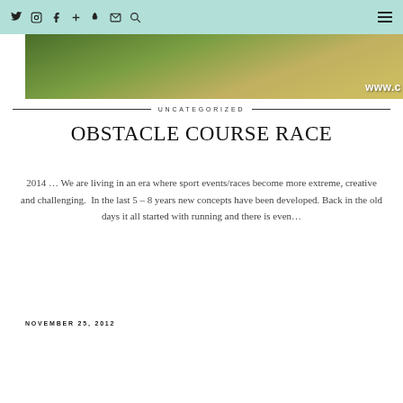Twitter Instagram Facebook + Snapchat Mail Search [hamburger menu]
[Figure (photo): Hero image showing outdoor terrain, partially cropped, with 'www.c' watermark visible at right]
UNCATEGORIZED
OBSTACLE COURSE RACE
2014 … We are living in an era where sport events/races become more extreme, creative and challenging.  In the last 5 – 8 years new concepts have been developed. Back in the old days it all started with running and there is even…
NOVEMBER 25, 2012